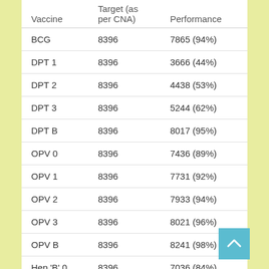| Vaccine | Target (as per CNA) | Performance |
| --- | --- | --- |
| BCG | 8396 | 7865 (94%) |
| DPT 1 | 8396 | 3666 (44%) |
| DPT 2 | 8396 | 4438 (53%) |
| DPT 3 | 8396 | 5244 (62%) |
| DPT B | 8396 | 8017 (95%) |
| OPV 0 | 8396 | 7436 (89%) |
| OPV 1 | 8396 | 7731 (92%) |
| OPV 2 | 8396 | 7933 (94%) |
| OPV 3 | 8396 | 8021 (96%) |
| OPV B | 8396 | 8241 (98%) |
| Hep 'B' 0 | 8396 | 7036 (84%) |